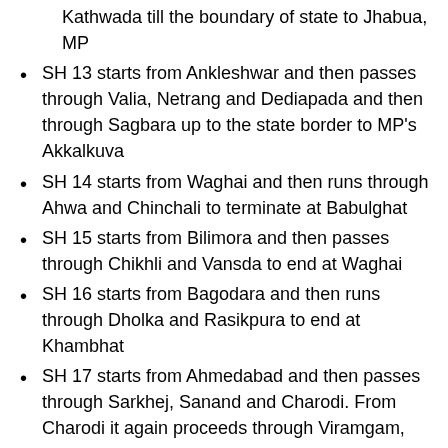Kathwada till the boundary of state to Jhabua, MP
SH 13 starts from Ankleshwar and then passes through Valia, Netrang and Dediapada and then through Sagbara up to the state border to MP's Akkalkuva
SH 14 starts from Waghai and then runs through Ahwa and Chinchali to terminate at Babulghat
SH 15 starts from Bilimora and then passes through Chikhli and Vansda to end at Waghai
SH 16 starts from Bagodara and then runs through Dholka and Rasikpura to end at Khambhat
SH 17 starts from Ahmedabad and then passes through Sarkhej, Sanand and Charodi. From Charodi it again proceeds through Viramgam, Wadhwan and Muli to culminate at Chotila
SH 18 starts from Viramgam and then runs